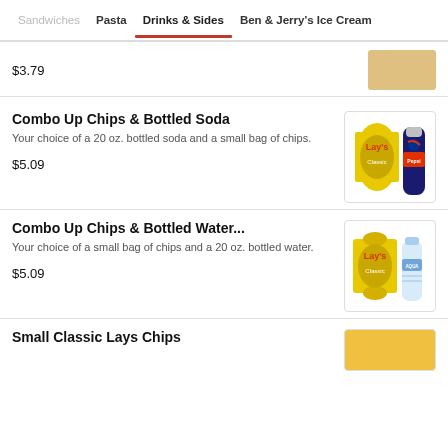Sandwiches | Pasta | Drinks & Sides | Ben & Jerry's Ice Cream
$3.79
Combo Up Chips & Bottled Soda
Your choice of a 20 oz. bottled soda and a small bag of chips.
$5.09
Combo Up Chips & Bottled Water...
Your choice of a small bag of chips and a 20 oz. bottled water.
$5.09
Small Classic Lays Chips